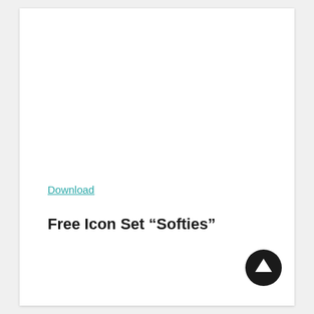Download
Free Icon Set “Softies”
[Figure (illustration): Dark circular button with white upward arrow icon in bottom right corner]